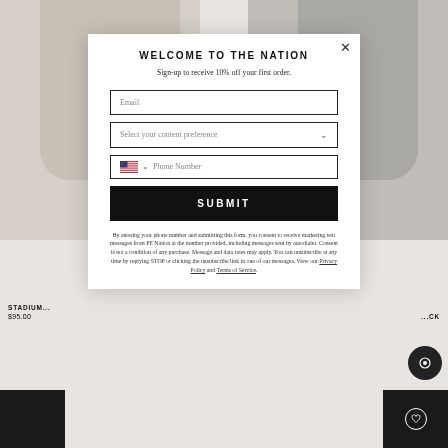[Figure (screenshot): E-commerce website background showing two product model images and product information, partially visible behind a modal popup]
WELCOME TO THE NATION
Sign-up to receive 10% off your first order.
Email (input field)
Select your content preference (dropdown)
Phone Number (with US flag selector)
SUBMIT
By entering your phone number and submitting this form, you consent to receive marketing text messages from PE Nation at the number provided, including messages sent by autodialer. Consent is not a condition of any purchase. Message and data rates may apply. You can unsubscribe at any time by replying STOP or clicking the unsubscribe link in one of our messages. View our Privacy Policy and Terms of Service.